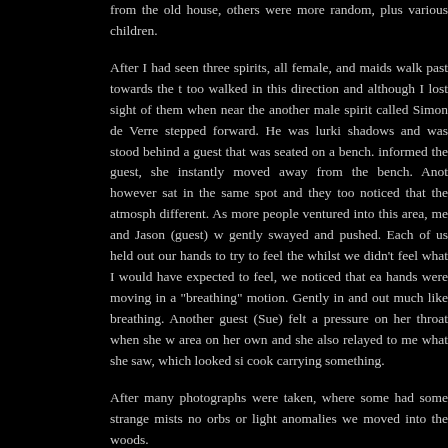from the old house, others were more random, plus various children.
After I had seen three spirits, all female, and maids walk past towards the t too walked in this direction and although I lost sight of them when near the another male spirit called Simon de Verre stepped forward. He was lurki shadows and was stood behind a guest that was seated on a bench. informed the guest, she instantly moved away from the bench. Anot however sat in the same spot and they too noticed that the atmosph different. As more people ventured into this area, me and Jason (guest) w gently swayed and pushed. Each of us held out our hands to try to feel the whilst we didn’t feel what I would have expected to feel, we noticed that ea hands were moving in a “breathing” motion. Gently in and out much like breathing. Another guest (Sue) felt a pressure on her throat when she w area on her own and she also relayed to me what she saw, which looked si cook carrying something.
After many photographs were taken, where some had some strange mists no orbs or light anomalies we moved into the woods.
Here we formed a séance circle and I encouraged spirits to come forward a people or move them. It took a while, but eventually a male spirit aged in hi and looking rather frazzled or worn out started to affect guests by gently mc arms. This moved onto gently pushing people and then abruptly stop reason for this was another younger male energy had walked toward unusually I could not see any detail, although I knew he was in his earl quite muscular. This particular energy walked around the circle, making pe uncomfortable. Sam (guest) felt unusually scared and afraid to look be There were some odd sounds coming from that direction, although they